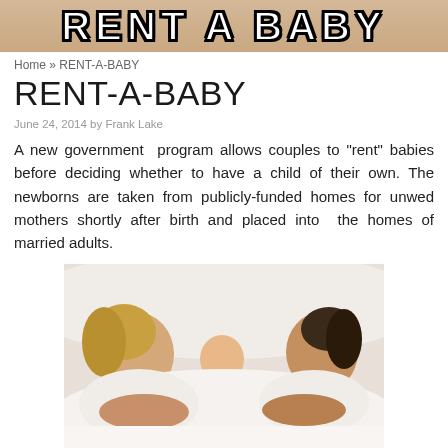[Figure (photo): Banner image showing 'RENT A BABY' text in bold black-outlined white letters on a warm background]
Home » RENT-A-BABY
RENT-A-BABY
June 24, 2014 by Frank Lake
A new government program allows couples to "rent" babies before deciding whether to have a child of their own. The newborns are taken from publicly-funded homes for unwed mothers shortly after birth and placed into the homes of married adults.
[Figure (photo): A couple and a young child lying together under white blankets, smiling at each other]